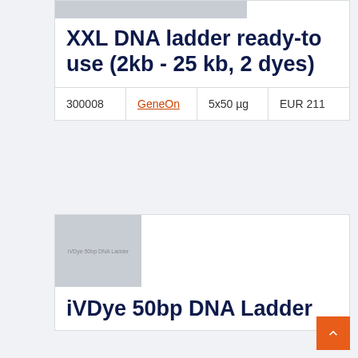XXL DNA ladder ready-to use (2kb - 25 kb, 2 dyes)
| 300008 | GeneOn | 5x50 µg | EUR 211 |
| --- | --- | --- | --- |
[Figure (photo): Product image placeholder for iVDye 50bp DNA Ladder with label text]
iVDye 50bp DNA Ladder